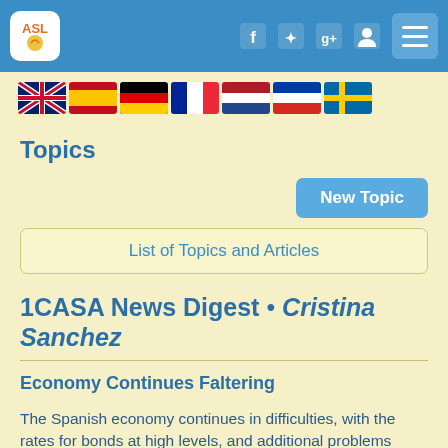ASL (logo) navigation bar with social icons and menu
[Figure (illustration): Row of country flags: UK, Spain, Germany, France, Netherlands, Russia, Sweden]
Topics
New Topic
List of Topics and Articles
1CASA News Digest • Cristina Sanchez
Economy Continues Faltering
The Spanish economy continues in difficulties, with the rates for bonds at high levels, and additional problems caused by Argentina's nationalisation of YPF. For further details, see: